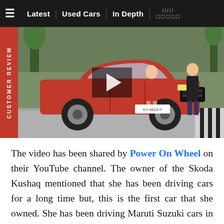≡  Latest | Used Cars | In Depth | ///// □□□□□
[Figure (screenshot): Video thumbnail showing a red Skoda Kushaq SUV parked on a road with a woman in a red dress leaning against it and a man standing beside it. A 'CUSTOMER REVIEW' label appears vertically on the left side in red. A large play button overlay is centered on the image.]
The video has been shared by Power On Wheel on their YouTube channel. The owner of the Skoda Kushaq mentioned that she has been driving cars for a long time but, this is the first car that she owned. She has been driving Maruti Suzuki cars in the past and ir